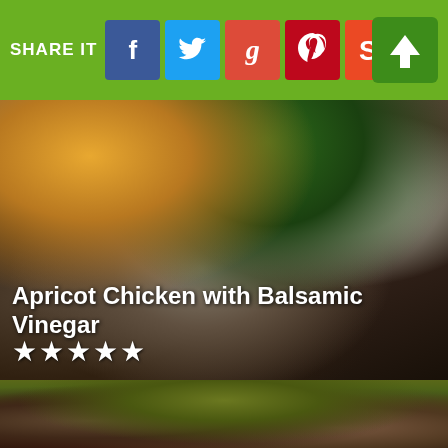SHARE IT
[Figure (photo): Food photo: Apricot Chicken with Balsamic Vinegar, showing a plated dish with orange-colored food and green herb garnish on a white plate]
Apricot Chicken with Balsamic Vinegar
★★★★★
[Figure (photo): Close-up food photo: Apricot Chicken dish in a pan with sauce, showing chicken pieces with blueberries and cream in a yellowish-green sauce]